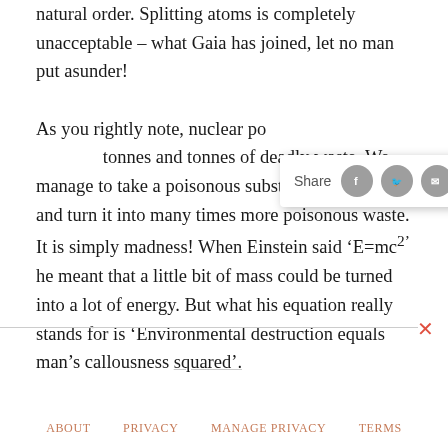natural order. Splitting atoms is completely unacceptable – what Gaia has joined, let no man put asunder!

As you rightly note, nuclear po[wer produces] tonnes and tonnes of deadly waste. We manage to take a poisonous substance (uranium) and turn it into many times more poisonous waste. It is simply madness! When Einstein said 'E=mc²' he meant that a little bit of mass could be turned into a lot of energy. But what his equation really stands for is 'Environmental destruction equals man's callousness squared'.
[Figure (other): Social share bar with Share label and circular icons for Facebook, Twitter, Email, and More (+)]
ABOUT   PRIVACY   MANAGE PRIVACY   TERMS